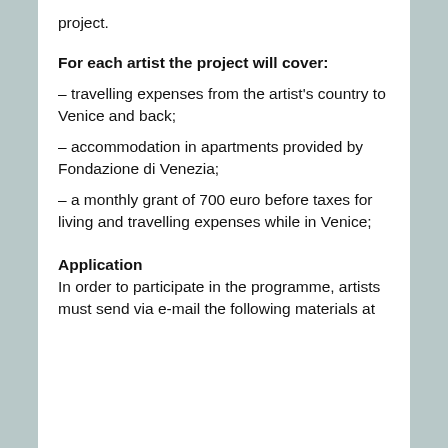project.
For each artist the project will cover:
– travelling expenses from the artist's country to Venice and back;
– accommodation in apartments provided by Fondazione di Venezia;
– a monthly grant of 700 euro before taxes for living and travelling expenses while in Venice;
Application
In order to participate in the programme, artists must send via e-mail the following materials at